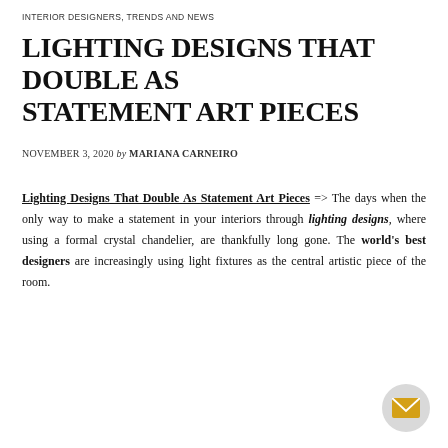INTERIOR DESIGNERS, TRENDS AND NEWS
LIGHTING DESIGNS THAT DOUBLE AS STATEMENT ART PIECES
NOVEMBER 3, 2020 by MARIANA CARNEIRO
Lighting Designs That Double As Statement Art Pieces => The days when the only way to make a statement in your interiors through lighting designs, where using a formal crystal chandelier, are thankfully long gone. The world's best designers are increasingly using light fixtures as the central artistic piece of the room.